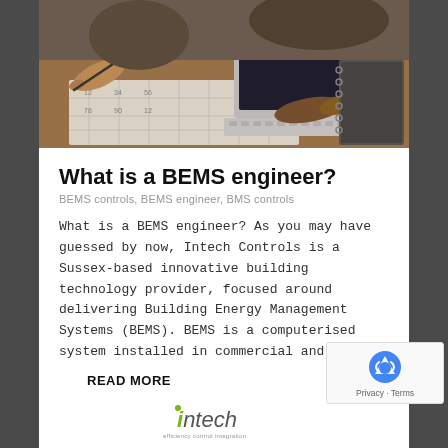[Figure (photo): Two people working at a desk with engineering drawings and a laptop, viewed from above. Hands visible holding a pen and operating a laptop.]
What is a BEMS engineer?
BEMS controls, BEMS engineer, BMS controls
What is a BEMS engineer? As you may have guessed by now, Intech Controls is a Sussex-based innovative building technology provider, focused around delivering Building Energy Management Systems (BEMS). BEMS is a computerised system installed in commercial and...
READ MORE
[Figure (logo): Intech logo with tagline 'efficiency, control, integration']
[Figure (other): reCAPTCHA badge with Privacy and Terms links]